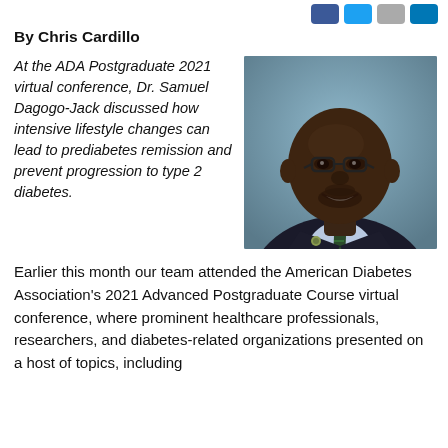By Chris Cardillo
At the ADA Postgraduate 2021 virtual conference, Dr. Samuel Dagogo-Jack discussed how intensive lifestyle changes can lead to prediabetes remission and prevent progression to type 2 diabetes.
[Figure (photo): Portrait photo of Dr. Samuel Dagogo-Jack, a man wearing glasses, a dark suit, and a striped tie, smiling at the camera against a blue-grey background.]
Earlier this month our team attended the American Diabetes Association's 2021 Advanced Postgraduate Course virtual conference, where prominent healthcare professionals, researchers, and diabetes-related organizations presented on a host of topics, including